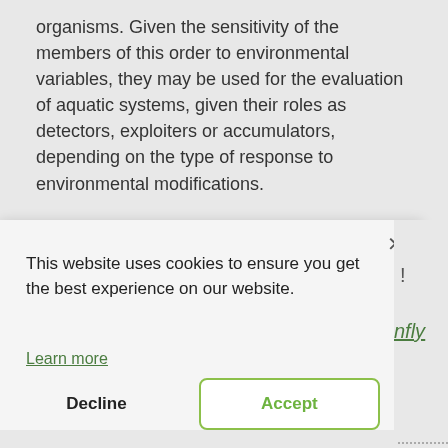organisms. Given the sensitivity of the members of this order to environmental variables, they may be used for the evaluation of aquatic systems, given their roles as detectors, exploiters or accumulators, depending on the type of response to environmental modifications.
This website uses cookies to ensure you get the best experience on our website.
Learn more
Decline
Accept